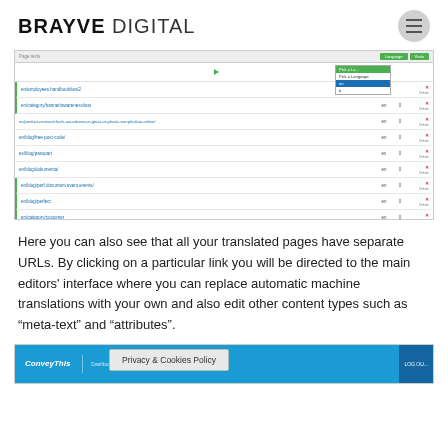BRAYVE DIGITAL
[Figure (screenshot): Screenshot of a CMS or translation management interface showing a list of translated page URLs with language codes (en, es), numeric counts (0), delete icons, and a dropdown language picker with 'Pick a Language' header and 'en' selected.]
Here you can also see that all your translated pages have separate URLs. By clicking on a particular link you will be directed to the main editors' interface where you can replace automatic machine translations with your own and also edit other content types such as “meta-text” and “attributes”.
[Figure (screenshot): Partial screenshot of ConveyThis dashboard interface with blue navigation bar showing Dashboard, Plans, My Tr... links, and a Privacy & Cookies Policy overlay banner.]